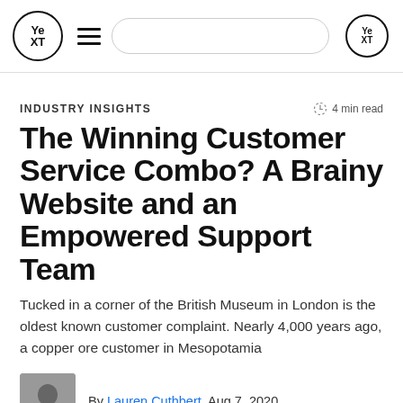[Figure (logo): Yext logo in top navigation bar with hamburger menu, search bar, and secondary Yext logo icon]
INDUSTRY INSIGHTS   4 min read
The Winning Customer Service Combo? A Brainy Website and an Empowered Support Team
Tucked in a corner of the British Museum in London is the oldest known customer complaint. Nearly 4,000 years ago, a copper ore customer in Mesopotamia
By Lauren Cuthbert  Aug 7, 2020
Help Site Search
Customer Service